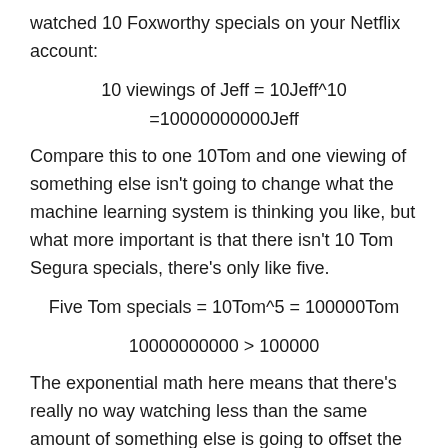watched 10 Foxworthy specials on your Netflix account:
Compare this to one 10Tom and one viewing of something else isn't going to change what the machine learning system is thinking you like, but what more important is that there isn't 10 Tom Segura specials, there's only like five.
The exponential math here means that there's really no way watching less than the same amount of something else is going to offset the binge of a previous show, genre, actor or however else they've segmented their content.
Sorry, you're doomed to finding out (over and over again)